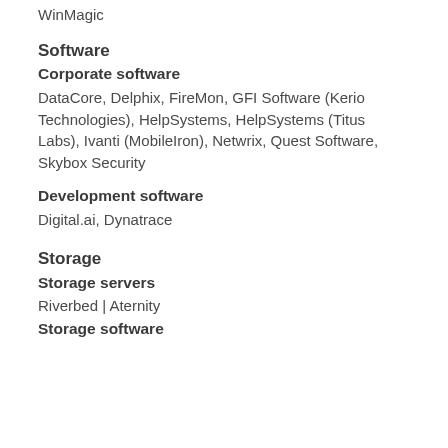WinMagic
Software
Corporate software
DataCore, Delphix, FireMon, GFI Software (Kerio Technologies), HelpSystems, HelpSystems (Titus Labs), Ivanti (MobileIron), Netwrix, Quest Software, Skybox Security
Development software
Digital.ai, Dynatrace
Storage
Storage servers
Riverbed | Aternity
Storage software